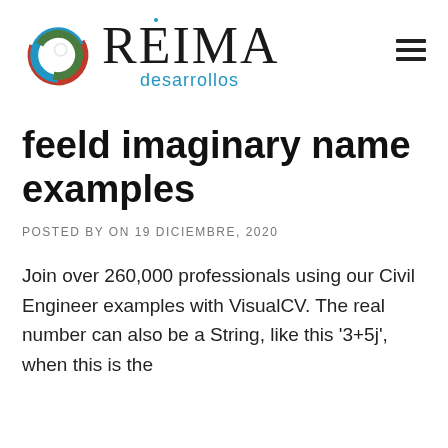[Figure (logo): REIMA desarrollos logo with colorful circular swirl icon (red, blue, green rings) and stylized text 'REIMA' with 'desarrollos' in blue beneath]
feeld imaginary name examples
POSTED BY ON 19 DICIEMBRE, 2020
Join over 260,000 professionals using our Civil Engineer examples with VisualCV. The real number can also be a String, like this '3+5j', when this is the